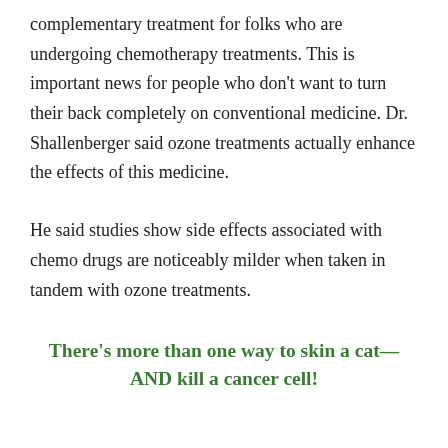complementary treatment for folks who are undergoing chemotherapy treatments. This is important news for people who don't want to turn their back completely on conventional medicine. Dr. Shallenberger said ozone treatments actually enhance the effects of this medicine.
He said studies show side effects associated with chemo drugs are noticeably milder when taken in tandem with ozone treatments.
There's more than one way to skin a cat—AND kill a cancer cell!